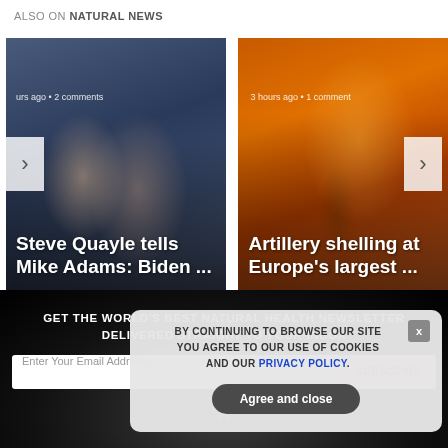ALSO ON NATURAL NEWS
[Figure (photo): Carousel card 1: Photo of two people (man and woman) smiling, overlaid with text 'urs ago • 2 comments' and headline 'Steve Quayle tells Mike Adams: Biden ...']
[Figure (photo): Carousel card 2: Orange/fire-toned industrial scene, overlaid with text '3 hours ago • 1 comment' and headline 'Artillery shelling at Europe's largest ...']
GET THE WORLD'S BEST NATURAL HEALTH NEWSLETTER DELIVERED STRAIGHT TO YOUR INBOX
Enter Your Email Address
SUBSCRIBE
BY CONTINUING TO BROWSE OUR SITE YOU AGREE TO OUR USE OF COOKIES AND OUR PRIVACY POLICY.
Agree and close